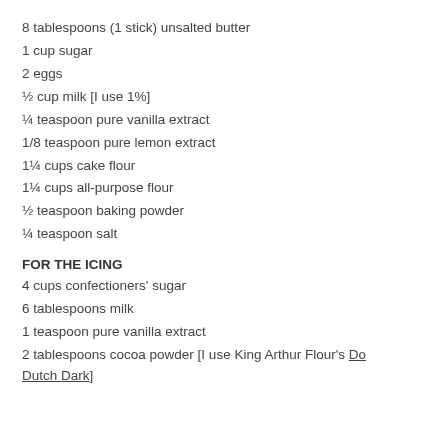8 tablespoons (1 stick) unsalted butter
1 cup sugar
2 eggs
½ cup milk [I use 1%]
¼ teaspoon pure vanilla extract
1/8 teaspoon pure lemon extract
1¼ cups cake flour
1¼ cups all-purpose flour
½ teaspoon baking powder
¼ teaspoon salt
FOR THE ICING
4 cups confectioners' sugar
6 tablespoons milk
1 teaspoon pure vanilla extract
2 tablespoons cocoa powder [I use King Arthur Flour's Double Dutch Dark]